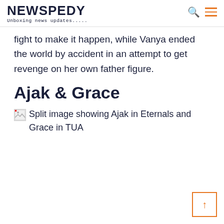NEWSPEDY
Unboxing news updates.....
fight to make it happen, while Vanya ended the world by accident in an attempt to get revenge on her own father figure.
Ajak & Grace
[Figure (photo): Split image showing Ajak in Eternals and Grace in TUA]
Split image showing Ajak in Eternals and Grace in TUA